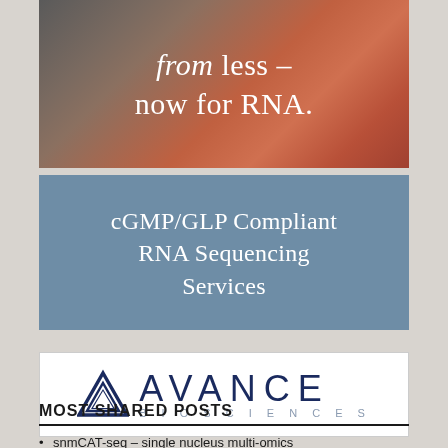[Figure (photo): Dark moody photo with red/orange flowers or berries, with overlaid white text 'from less – now for RNA.']
cGMP/GLP Compliant RNA Sequencing Services
[Figure (logo): Avance Biosciences logo with triangular icon and text AVANCE BIOSCIENCES]
MOST SHARED POSTS
snmCAT-seq – single nucleus multi-omics profiling